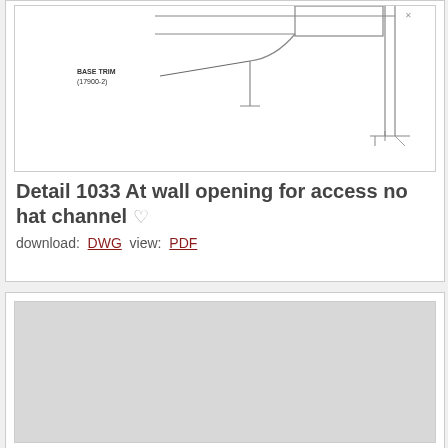[Figure (engineering-diagram): Technical engineering detail drawing showing a wall opening cross-section with base trim labeled (17900-2) and architectural line drawing details including walls and openings.]
Detail 1033 At wall opening for access no hat channel
download: DWG  view: PDF
[Figure (engineering-diagram): Second engineering detail drawing, shown as a gray placeholder/loading image.]